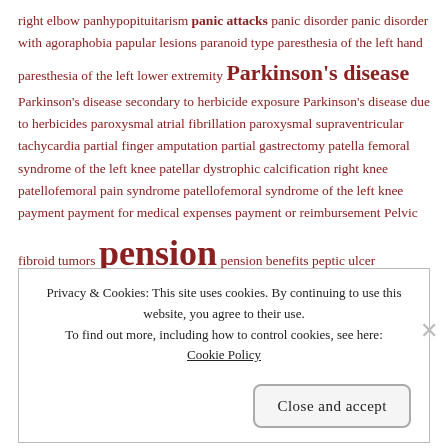right elbow panhypopituitarism panic attacks panic disorder panic disorder with agoraphobia papular lesions paranoid type paresthesia of the left hand paresthesia of the left lower extremity Parkinson's disease Parkinson's disease secondary to herbicide exposure Parkinson's disease due to herbicides paroxysmal atrial fibrillation paroxysmal supraventricular tachycardia partial finger amputation partial gastrectomy patella femoral syndrome of the left knee patellar dystrophic calcification right knee patellofemoral pain syndrome patellofemoral syndrome of the left knee payment payment for medical expenses payment or reimbursement Pelvic fibroid tumors pension pension benefits peptic ulcer
Privacy & Cookies: This site uses cookies. By continuing to use this website, you agree to their use. To find out more, including how to control cookies, see here: Cookie Policy
Close and accept